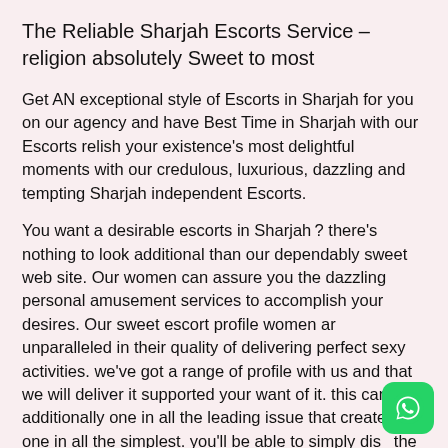The Reliable Sharjah Escorts Service – religion absolutely Sweet to most
Get AN exceptional style of Escorts in Sharjah for you on our agency and have Best Time in Sharjah with our Escorts relish your existence's most delightful moments with our credulous, luxurious, dazzling and tempting Sharjah independent Escorts.
You want a desirable escorts in Sharjah ? there's nothing to look additional than our dependably sweet web site. Our women can assure you the dazzling personal amusement services to accomplish your desires. Our sweet escort profile women ar unparalleled in their quality of delivering perfect sexy activities. we've got a range of profile with us and that we will deliver it supported your want of it. this can be additionally one in all the leading issue that created US one in all the simplest. you'll be able to simply dis the proper one.
[Figure (logo): WhatsApp icon - green rounded square with white phone handset]